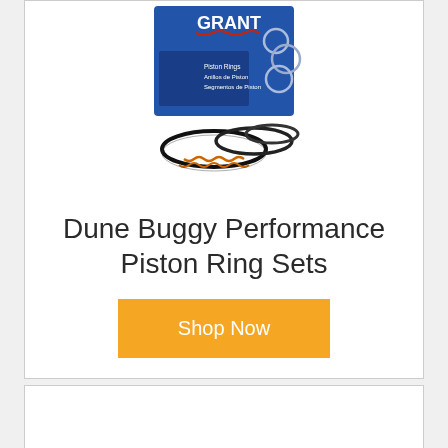[Figure (photo): Grant brand piston ring set product photo showing a blue product box labeled 'Piston Rings / Anillos de Piston / Segmentos de Piston' with several piston rings displayed in front of the box]
Dune Buggy Performance Piston Ring Sets
Shop Now
[Figure (photo): Partial product photo showing a silver/chrome engine part at the bottom of the page, cut off]